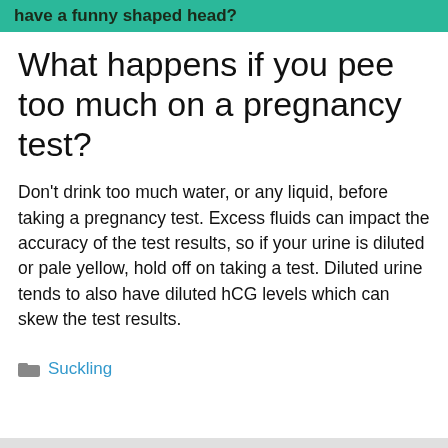have a funny shaped head?
What happens if you pee too much on a pregnancy test?
Don't drink too much water, or any liquid, before taking a pregnancy test. Excess fluids can impact the accuracy of the test results, so if your urine is diluted or pale yellow, hold off on taking a test. Diluted urine tends to also have diluted hCG levels which can skew the test results.
Suckling